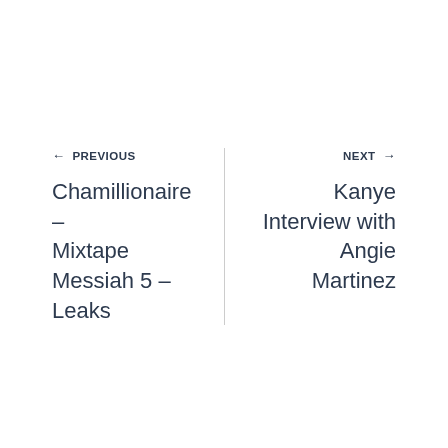← PREVIOUS
Chamillionaire – Mixtape Messiah 5 – Leaks
NEXT →
Kanye Interview with Angie Martinez